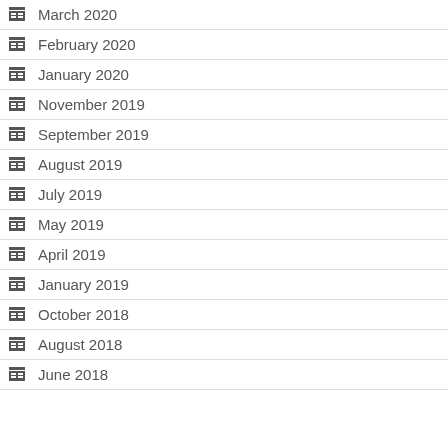March 2020
February 2020
January 2020
November 2019
September 2019
August 2019
July 2019
May 2019
April 2019
January 2019
October 2018
August 2018
June 2018